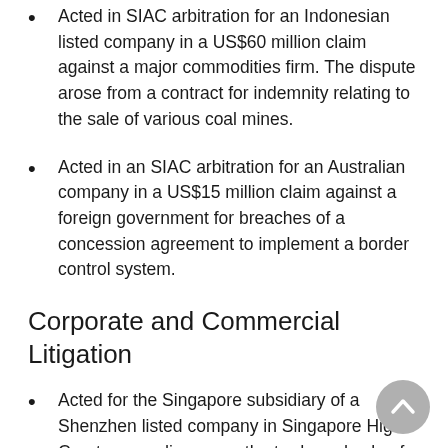Acted in SIAC arbitration for an Indonesian listed company in a US$60 million claim against a major commodities firm. The dispute arose from a contract for indemnity relating to the sale of various coal mines.
Acted in an SIAC arbitration for an Australian company in a US$15 million claim against a foreign government for breaches of a concession agreement to implement a border control system.
Corporate and Commercial Litigation
Acted for the Singapore subsidiary of a Shenzhen listed company in Singapore High Court proceedings over the trade and sale of metals. The cases raised issues of interpretation of letters of credit, and the usage of inter-bank payment systems.